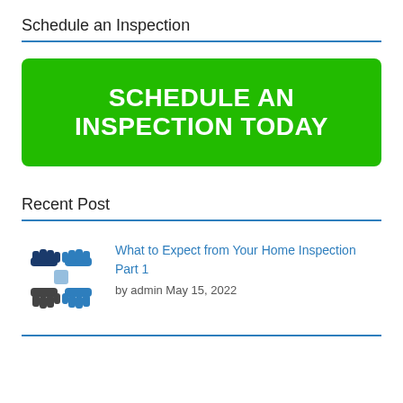Schedule an Inspection
[Figure (other): Green button with white bold text: SCHEDULE AN INSPECTION TODAY]
Recent Post
[Figure (illustration): Icon of four hands joined together in blue and dark tones]
What to Expect from Your Home Inspection Part 1
by admin May 15, 2022